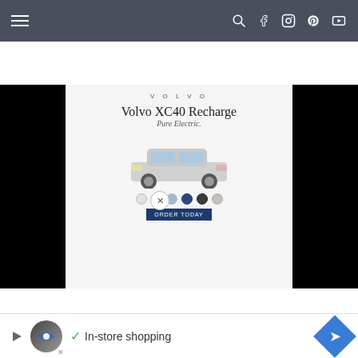Navigation bar with hamburger menu and social icons (search, facebook, instagram, pinterest, youtube)
HOME   ABOUT ROSIE   LET'S WORK TOGETHER!   RECIPE INDEX   ROSAMAE SEASONINGS   PRIVACY/COPYRIGHT DISCLAIMER
Search...
COPYRIGHT ©2022, I H...
SITE...
AN ELITE C...
[Figure (screenshot): Volvo XC40 Recharge Pure Electric advertisement overlay with black side panels]
[Figure (infographic): Bottom ad bar with In-store shopping text, circular logo, checkmark, and blue diamond navigation arrow]